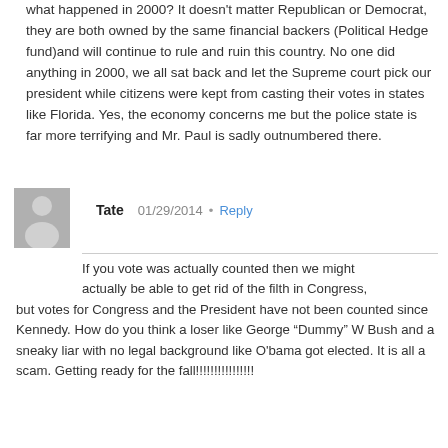what happened in 2000? It doesn't matter Republican or Democrat, they are both owned by the same financial backers (Political Hedge fund)and will continue to rule and ruin this country. No one did anything in 2000, we all sat back and let the Supreme court pick our president while citizens were kept from casting their votes in states like Florida. Yes, the economy concerns me but the police state is far more terrifying and Mr. Paul is sadly outnumbered there.
Tate  01/29/2014  Reply
If you vote was actually counted then we might actually be able to get rid of the filth in Congress, but votes for Congress and the President have not been counted since Kennedy. How do you think a loser like George “Dummy” W Bush and a sneaky liar with no legal background like O'bama got elected. It is all a scam. Getting ready for the fall!!!!!!!!!!!!!!!!